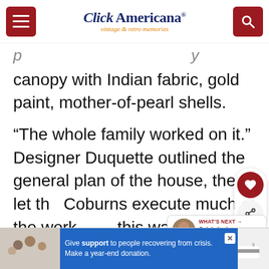Click Americana — vintage & retro memories
canopy with Indian fabric, gold paint, mother-of-pearl shells.
“The whole family worked on it.” Designer Duquette outlined the general plan of the house, then let the Coburns execute much of the work. this way, the house really belo owners.”
[Figure (screenshot): Advertisement banner at bottom: Give support to people recovering from crisis. Make a year-end donation.]